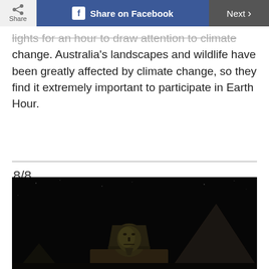Share | Share on Facebook | Next >
lights for an hour to draw attention to climate change. Australia's landscapes and wildlife have been greatly affected by climate change, so they find it extremely important to participate in Earth Hour.
8/8
[Figure (photo): Nighttime photo of the Great Sphinx of Giza and a pyramid in Egypt, with lights dimmed during Earth Hour, dark sky background.]